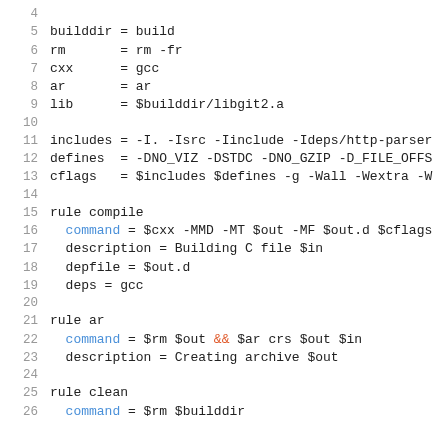Code listing lines 4-26 of a ninja build file showing variable assignments and rules (compile, ar, clean)